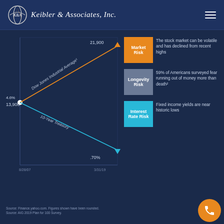Keibler & Associates, Inc.
[Figure (continuous-plot): Fan chart showing two diverging lines from a starting point (white dot) on the left. Upper line (orange) rises from 13,900 to 21,900, labeled 'Dow Jones Industrial Average' — representing Market Risk. Lower line (teal/blue) falls from 4.6% to .70%, labeled '10-Year Treasury' — representing Interest Rate Risk. X-axis spans from 8/28/07 to 3/31/19.]
Market Risk
The stock market can be volatile and has declined from recent highs
Longevity Risk
59% of Americans surveyed fear running out of money more than death²
Interest Rate Risk
Fixed income yields are near historic lows
Source: Finance.yahoo.com. Figures shown have been rounded.
Source: AIG 2019 Plan for 100 Survey.